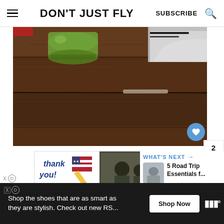DON'T JUST FLY | SUBSCRIBE
[Figure (photo): Close-up photo of a wooden table surface with a green glass bottle and a white sneaker/shoe box on the right side.]
[Figure (photo): Operation Gratitude advertisement banner showing 'Thank you!' text with US flag pencil design, military personnel in background, and Operation Gratitude logo.]
WHAT'S NEXT → 5 Road Trip Essentials f...
Shop the shoes that are as smart as they are stylish. Check out new RS... Shop Now